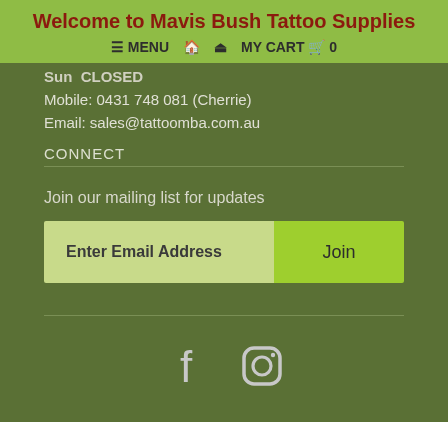Welcome to Mavis Bush Tattoo Supplies
≡ MENU  🏠  👤  MY CART  🛒  0
Sun  CLOSED
Mobile: 0431 748 081 (Cherrie)
Email: sales@tattoomba.com.au
CONNECT
Join our mailing list for updates
Enter Email Address  |  Join
[Figure (other): Facebook and Instagram social media icons]